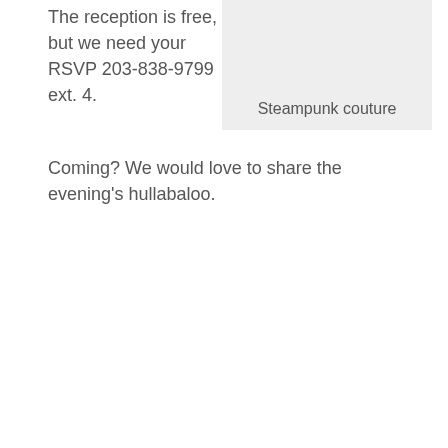The reception is free, but we need your RSVP 203-838-9799 ext. 4.
[Figure (illustration): Light gray rectangular image placeholder with caption 'Steampunk couture']
Coming? We would love to share the evening's hullabaloo.